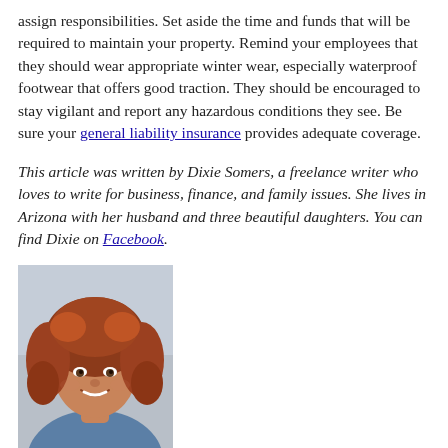assign responsibilities. Set aside the time and funds that will be required to maintain your property. Remind your employees that they should wear appropriate winter wear, especially waterproof footwear that offers good traction. They should be encouraged to stay vigilant and report any hazardous conditions they see. Be sure your general liability insurance provides adequate coverage.
This article was written by Dixie Somers, a freelance writer who loves to write for business, finance, and family issues. She lives in Arizona with her husband and three beautiful daughters. You can find Dixie on Facebook.
[Figure (photo): Portrait photo of Dixie Somers, a woman with curly auburn/red hair, smiling, wearing a blue top, photographed from shoulders up against a light background.]